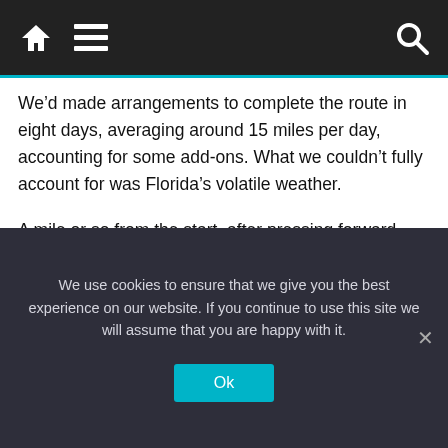Navigation bar with home, menu, and search icons
We’d made arrangements to complete the route in eight days, averaging around 15 miles per day, accounting for some add-ons. What we couldn’t fully account for was Florida’s volatile weather.
A mile or so from the start, after pressing forward with our itinerary despite high winds and an incoming storm front (and with an assurance from our outfitter, Bobby Miller Jr., that he’d swoop in and fetch us with his boat should the weather really go south), one of our kayaks started taking on water. Then came worse news: A tornado was headed our way. We huddled
We use cookies to ensure that we give you the best experience on our website. If you continue to use this site we will assume that you are happy with it.